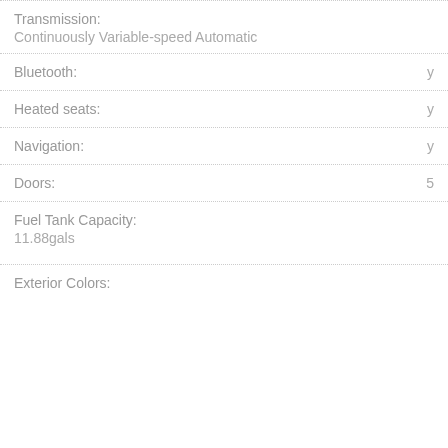Transmission:
Continuously Variable-speed Automatic
Bluetooth: y
Heated seats: y
Navigation: y
Doors: 5
Fuel Tank Capacity:
11.88gals
Exterior Colors: